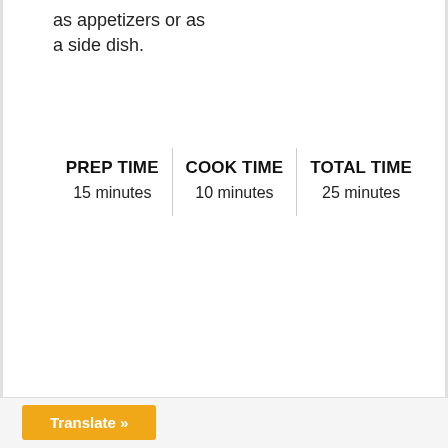as appetizers or as a side dish.
| PREP TIME | COOK TIME | TOTAL TIME |
| --- | --- | --- |
| 15 minutes | 10 minutes | 25 minutes |
Translate »